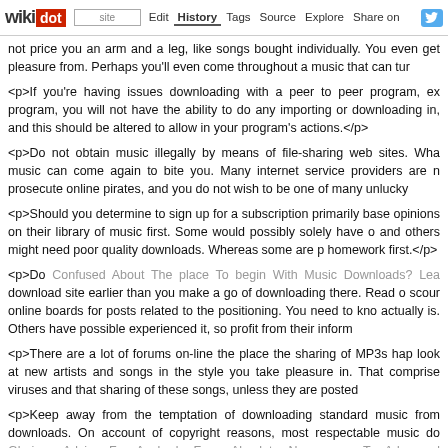wikidot | site | Edit | History | Tags | Source | Explore | Share on [Twitter]
not price you an arm and a leg, like songs bought individually. You even get pleasure from. Perhaps you'll even come throughout a music that can tur
<p>If you're having issues downloading with a peer to peer program, ex program, you will not have the ability to do any importing or downloading in, and this should be altered to allow in your program's actions.</p>
<p>Do not obtain music illegally by means of file-sharing web sites. Wha music can come again to bite you. Many internet service providers are n prosecute online pirates, and you do not wish to be one of many unlucky
<p>Should you determine to sign up for a subscription primarily base opinions on their library of music first. Some would possibly solely have o and others might need poor quality downloads. Whereas some are p homework first.</p>
<p>Do Confused About The place To begin With Music Downloads? Lea download site earlier than you make a go of downloading there. Read o scour online boards for posts related to the positioning. You need to kno actually is. Others have possible experienced it, so profit from their inform
<p>There are a lot of forums on-line the place the sharing of MP3s hap look at new artists and songs in the style you take pleasure in. That comprise viruses and that sharing of these songs, unless they are posted
<p>Keep away from the temptation of downloading standard music from downloads. On account of copyright reasons, most respectable music do Glorious Advice For Anybody From Absolute Newcomers To Advance downloads of the latest songs have to be scrutinized because there are which make the download for your own client obsolete.